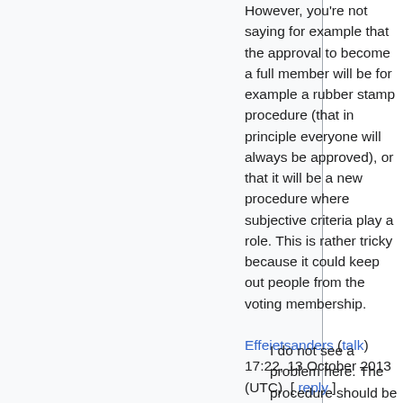However, you're not saying for example that the approval to become a full member will be for example a rubber stamp procedure (that in principle everyone will always be approved), or that it will be a new procedure where subjective criteria play a role. This is rather tricky because it could keep out people from the voting membership. Effeietsanders (talk) 17:22, 13 October 2013 (UTC) [ reply ]
I do not see a problem here. The procedure should be clearly